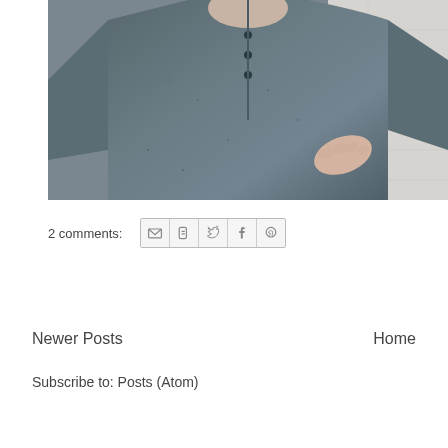[Figure (photo): Close-up photo of a person wearing a grey long-sleeve henley shirt with buttons at the collar, with another person's hand visible touching their chest, against a white brick wall background.]
2 comments:
Newer Posts
Home
Subscribe to: Posts (Atom)